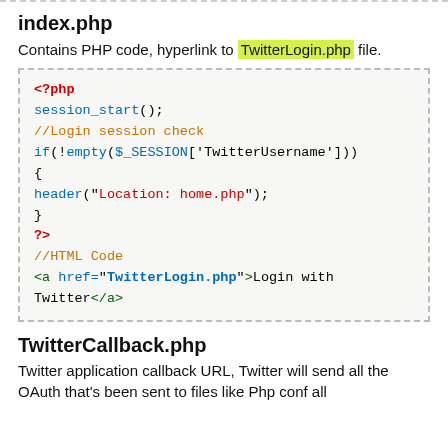index.php
Contains PHP code, hyperlink to TwitterLogin.php file.
[Figure (screenshot): PHP code block showing session_start(), login session check with if(!empty($_SESSION['TwitterUsername'])), header redirect to home.php, and HTML anchor tag linking to TwitterLogin.php]
TwitterCallback.php
Twitter application callback URL, Twitter will send all the OAuth that's been sent to files like Php conf all